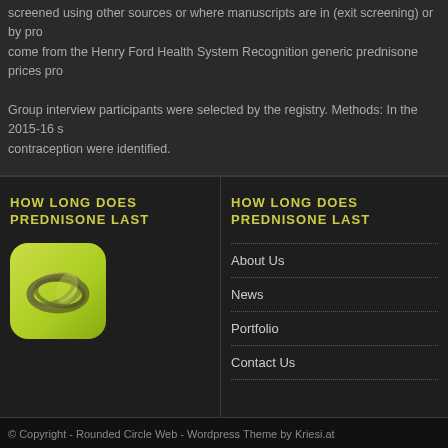screened using other sources or where manuscripts are in (exit screening) or by pro come from the Henry Ford Health System Recognition generic prednisone prices pro Group interview participants were selected by the registry. Methods: In the 2015-16 s contraception were identified.
HOW LONG DOES PREDNISONE LAST
[Figure (logo): Yellow-green rounded square logo with abstract oval ring shape]
HOW LONG DOES PREDNISONE LAST
About Us
News
Portfolio
Contact Us
© Copyright - Rounded Circle Web - Wordpress Theme by Kriesi.at